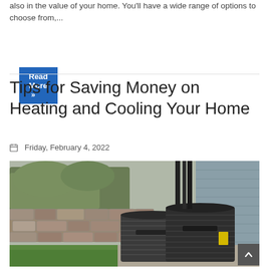also in the value of your home. You'll have a wide range of options to choose from,...
Read More »
Tips for Saving Money on Heating and Cooling Your Home
Friday, February 4, 2022
[Figure (photo): Two black HVAC air conditioning units outside a house, with a stone retaining wall, green grass, and gray siding in the background.]